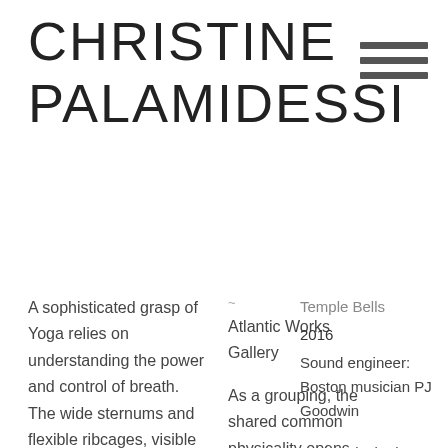CHRISTINE PALAMIDESSI
Temple Bells
Atlantic Works Gallery
2016
Sound engineer: Boston musician PJ Goodwin
A sophisticated grasp of Yoga relies on understanding the power and control of breath. The wide sternums and flexible ribcages, visible on the sculptures, reveal the physicality of
As a grouping, the shared common physicality opens the door to a way-of-being that is neither digital nor scientific but humanistic. Heart, Breath...
You are invited to listen to the installation's audio. Close your eyes and breathe-along into a feeling of fullness